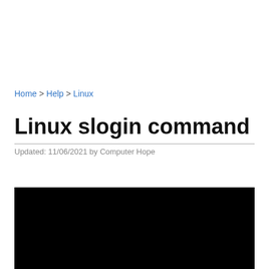Home > Help > Linux
Linux slogin command
Updated: 11/06/2021 by Computer Hope
[Figure (screenshot): Black terminal/screenshot area showing a dark command-line interface]